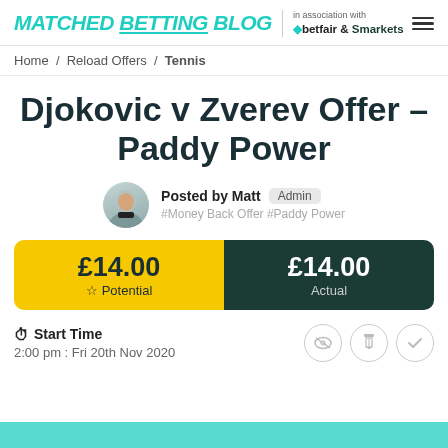MATCHED BETTING BLOG — in association with betfair & Smarkets
Home / Reload Offers / Tennis
Djokovic v Zverev Offer – Paddy Power
Posted by Matt  Admin
#Money Back Offer #Paddy Power
£14.00 Potential  |  £14.00 Actual
Start Time
2:00 pm : Fri 20th Nov 2020